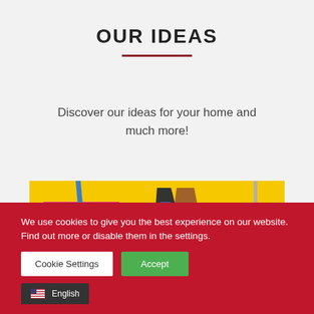OUR IDEAS
Discover our ideas for your home and much more!
[Figure (photo): Colorful cleaning tools (broom, dustpan, clothes) hanging on a bright yellow wall with pink accents]
We use cookies to give you the best experience on our website. Find out more or disable them in the settings.
Cookie Settings  Accept  English